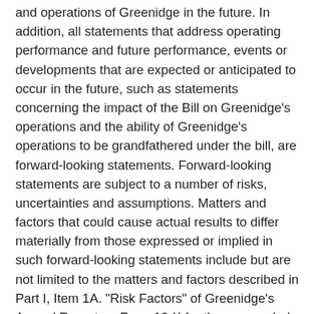and operations of Greenidge in the future. In addition, all statements that address operating performance and future performance, events or developments that are expected or anticipated to occur in the future, such as statements concerning the impact of the Bill on Greenidge's operations and the ability of Greenidge's operations to be grandfathered under the bill, are forward-looking statements. Forward-looking statements are subject to a number of risks, uncertainties and assumptions. Matters and factors that could cause actual results to differ materially from those expressed or implied in such forward-looking statements include but are not limited to the matters and factors described in Part I, Item 1A. "Risk Factors" of Greenidge's Annual Report on Form 10-K for the year ended December 31, 2021, and its other filings with the Securities and Exchange Commission, all of the forward-looking